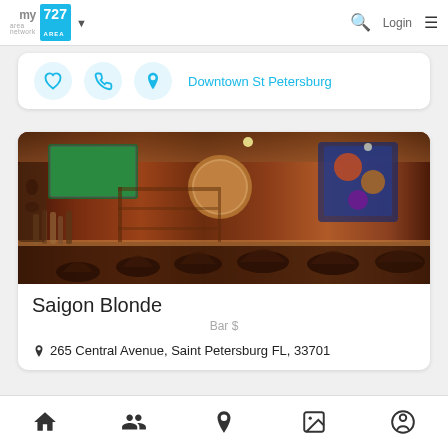my area network | 727 AREA | Login
[Figure (screenshot): Action icons row: heart (favorite), phone, location pin with text 'Downtown St Petersburg']
[Figure (photo): Interior photo of Saigon Blonde bar showing bar counter, stools, colorful wall decorations, TV screens, and eclectic artwork]
Saigon Blonde
Bar $
265 Central Avenue, Saint Petersburg FL, 33701
Bottom navigation: home, people/groups, location, photos, profile